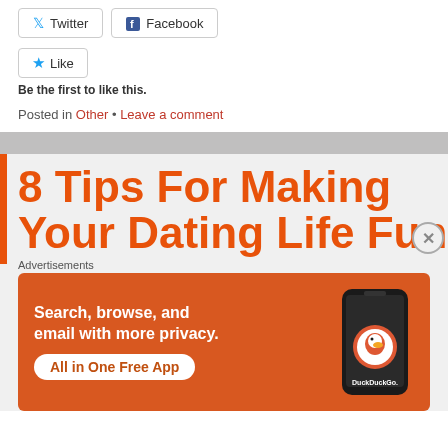[Figure (screenshot): Twitter and Facebook share buttons]
[Figure (screenshot): Like button with blue star icon]
Be the first to like this.
Posted in Other • Leave a comment
8 Tips For Making Your Dating Life Fun
Advertisements
[Figure (screenshot): DuckDuckGo advertisement banner: Search, browse, and email with more privacy. All in One Free App. Shows a phone with DuckDuckGo logo.]